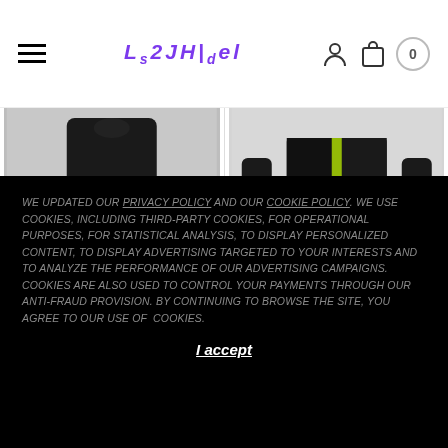[Figure (screenshot): E-commerce website header with hamburger menu, stylized purple logo text, user icon, shopping bag icon, and cart count 0]
[Figure (photo): Product image: Semi-fitted see-through high neck top with long sleeves, showing dark/black garment against white background]
SEMI-FITTED, SEE-THROUGH HIGH NECK TOP WITH LONG SLEEVES
€49.90  €19.90
[Figure (photo): Product image: Inner-slit cropped wool suit pants, showing dark pants against white background]
INNER-SLIT CROPPED WOOL SUIT PANTS
€129.90  €34.90
WE UPDATED OUR PRIVACY POLICY AND OUR COOKIE POLICY. WE USE COOKIES, INCLUDING THIRD-PARTY COOKIES, FOR OPERATIONAL PURPOSES, FOR STATISTICAL ANALYSIS, TO DISPLAY PERSONALIZED CONTENT, TO DISPLAY ADVERTISING TARGETED TO YOUR INTERESTS AND TO ANALYZE THE PERFORMANCE OF OUR ADVERTISING CAMPAIGNS. COOKIES ARE ALSO USED TO CONTROL YOUR PAYMENTS THROUGH OUR ANTI-FRAUD PROVISION. BY CONTINUING TO BROWSE THE SITE, YOU AGREE TO OUR USE OF COOKIES.
I accept